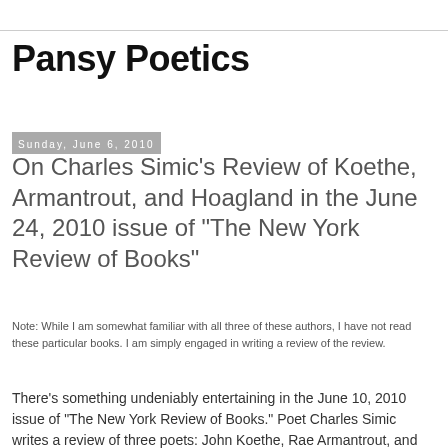Pansy Poetics
Sunday, June 6, 2010
On Charles Simic's Review of Koethe, Armantrout, and Hoagland in the June 24, 2010 issue of "The New York Review of Books"
Note: While I am somewhat familiar with all three of these authors, I have not read these particular books. I am simply engaged in writing a review of the review.
There's something undeniably entertaining in the June 10, 2010 issue of "The New York Review of Books." Poet Charles Simic writes a review of three poets: John Koethe, Rae Armantrout, and Tony Hoagland. Even though he rarely explicitly compares them, Simic's comparative lens results t…